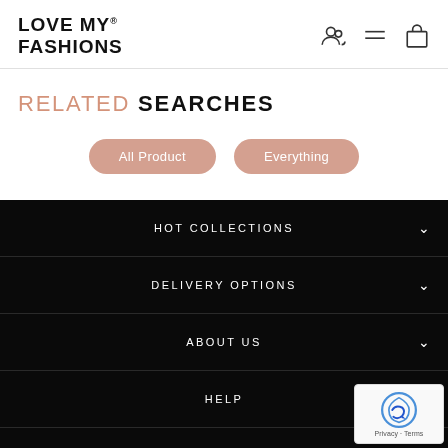LOVE MY® FASHIONS
RELATED SEARCHES
All Product
Everything
HOT COLLECTIONS
DELIVERY OPTIONS
ABOUT US
HELP
FIND US ON